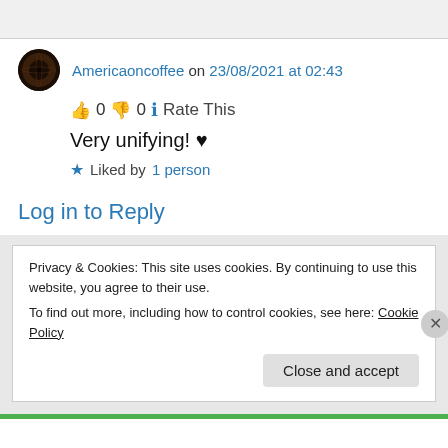Americaoncoffee on 23/08/2021 at 02:43
👍 0 👎 0 ℹ Rate This
Very unifying! ♥
★ Liked by 1 person
Log in to Reply
Privacy & Cookies: This site uses cookies. By continuing to use this website, you agree to their use.
To find out more, including how to control cookies, see here: Cookie Policy
Close and accept